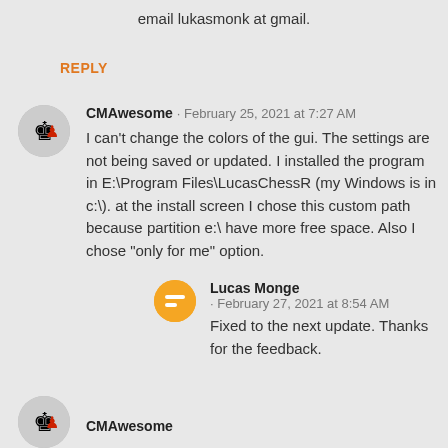email lukasmonk at gmail.
REPLY
CMAwesome · February 25, 2021 at 7:27 AM
I can't change the colors of the gui. The settings are not being saved or updated. I installed the program in E:\Program Files\LucasChessR (my Windows is in c:\). at the install screen I chose this custom path because partition e:\ have more free space. Also I chose "only for me" option.
Lucas Monge · February 27, 2021 at 8:54 AM
Fixed to the next update. Thanks for the feedback.
CMAwesome